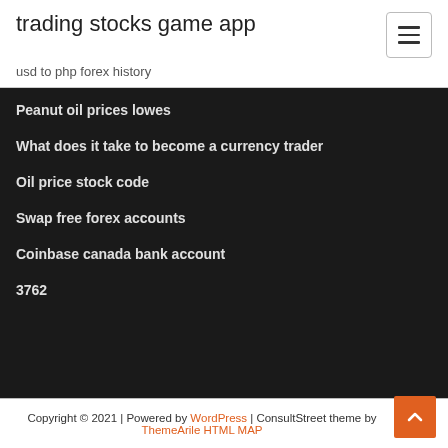trading stocks game app
usd to php forex history
Peanut oil prices lowes
What does it take to become a currency trader
Oil price stock code
Swap free forex accounts
Coinbase canada bank account
3762
Copyright © 2021 | Powered by WordPress | ConsultStreet theme by ThemeArile HTML MAP